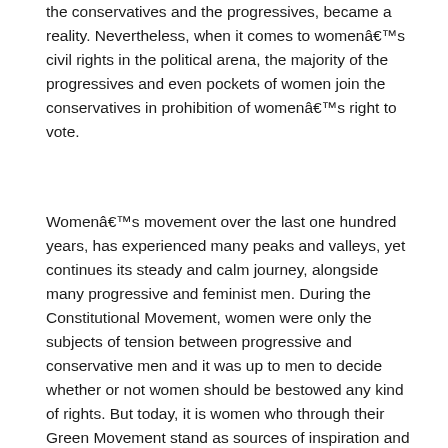the conservatives and the progressives, became a reality. Nevertheless, when it comes to womenâs civil rights in the political arena, the majority of the progressives and even pockets of women join the conservatives in prohibition of womenâs right to vote.
Womenâs movement over the last one hundred years, has experienced many peaks and valleys, yet continues its steady and calm journey, alongside many progressive and feminist men. During the Constitutional Movement, women were only the subjects of tension between progressive and conservative men and it was up to men to decide whether or not women should be bestowed any kind of rights. But today, it is women who through their Green Movement stand as sources of inspiration and creators of democratic slogans and vital components of this movement.
From the days of the Constitutional Movement when Bibi khanoom, one of the founders of the Girls School in Iran, enclosed her head scarf with a letter written to the